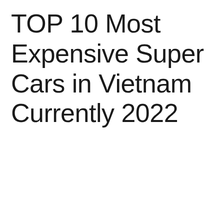TOP 10 Most Expensive Super Cars in Vietnam Currently 2022